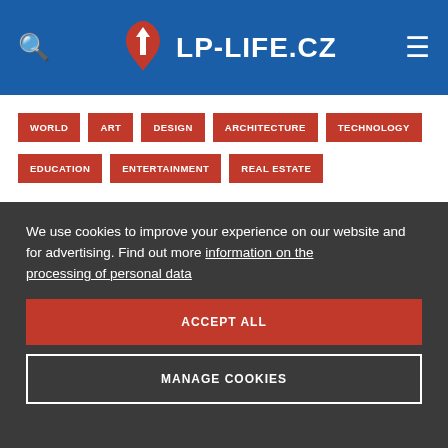LP-LIFE.CZ
WORLD
ART
DESIGN
ARCHITECTURE
TECHNOLOGY
EDUCATION
ENTERTAINMENT
REAL ESTATE
It's beginning to move
We use cookies to improve your experience on our website and for advertising. Find out more information on the processing of personal data
ACCEPT ALL
MANAGE COOKIES